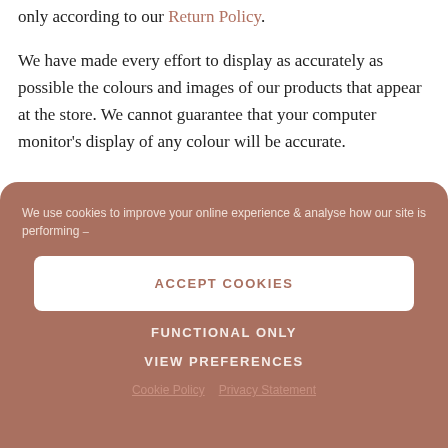only according to our Return Policy.
We have made every effort to display as accurately as possible the colours and images of our products that appear at the store. We cannot guarantee that your computer monitor's display of any colour will be accurate.
We use cookies to improve your online experience & analyse how our site is performing -
ACCEPT COOKIES
FUNCTIONAL ONLY
VIEW PREFERENCES
Cookie Policy   Privacy Statement